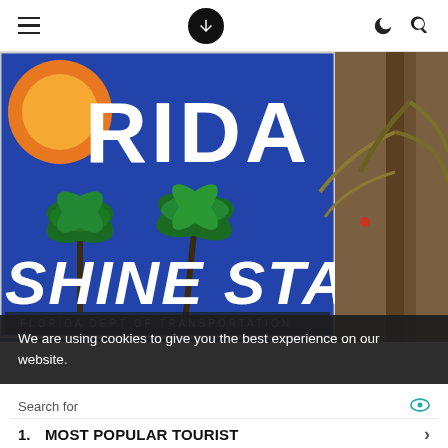Navigation bar with hamburger menu, download icon, moon icon, search icon
[Figure (photo): Close-up photo of a Florida state sign (blue background) showing partial text 'RIDA' and 'SHINE STATE' with green palm tree graphics and an orange/sun graphic, with a real palm tree visible to the right]
We are using cookies to give you the best experience on our website.
Search for
1. MOST POPULAR TOURIST
2. BEST BEACHES IN FLORIDA
Yahoo! Search | Sponsored